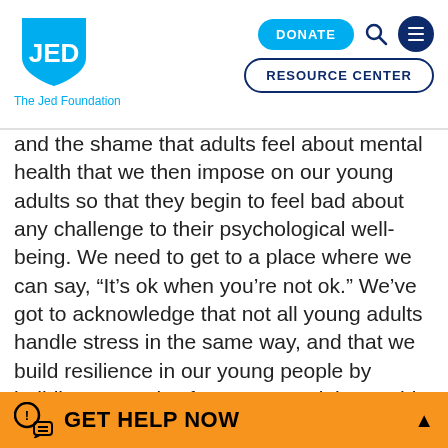[Figure (logo): JED Foundation logo — cyan shield shape with white 'JED' text]
The Jed Foundation
[Figure (screenshot): Navigation buttons: DONATE (cyan pill), search icon, hamburger menu (dark blue circle), RESOURCE CENTER (dark blue outlined pill)]
and the shame that adults feel about mental health that we then impose on our young adults so that they begin to feel bad about any challenge to their psychological well-being. We need to get to a place where we can say, “It’s ok when you’re not ok.” We’ve got to acknowledge that not all young adults handle stress in the same way, and that we build resilience in our young people by building protective factors around them. This is particularly important when we’re talking about youth in communities of color and youth who are
GET HELP NOW